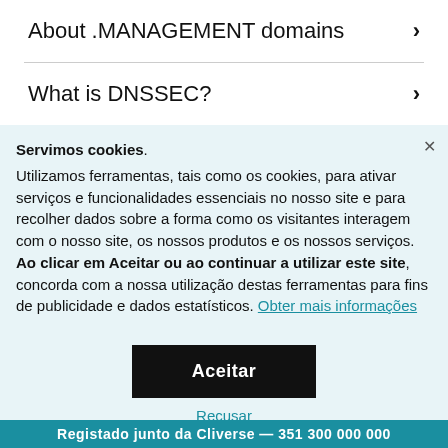About .MANAGEMENT domains >
What is DNSSEC? >
Servimos cookies. Utilizamos ferramentas, tais como os cookies, para ativar serviços e funcionalidades essenciais no nosso site e para recolher dados sobre a forma como os visitantes interagem com o nosso site, os nossos produtos e os nossos serviços. Ao clicar em Aceitar ou ao continuar a utilizar este site, concorda com a nossa utilização destas ferramentas para fins de publicidade e dados estatísticos. Obter mais informações
Aceitar
Recusar
Gerir definições
Registado junto da Cliverse — 351 300 000 000